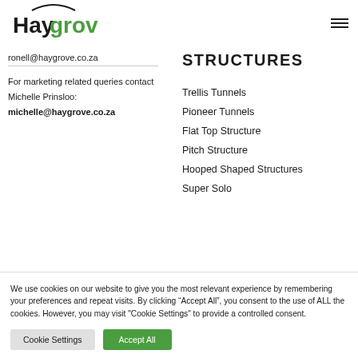Haygrove
ronell@haygrove.co.za
For marketing related queries contact Michelle Prinsloo: michelle@haygrove.co.za
STRUCTURES
Trellis Tunnels
Pioneer Tunnels
Flat Top Structure
Pitch Structure
Hooped Shaped Structures
Super Solo
We use cookies on our website to give you the most relevant experience by remembering your preferences and repeat visits. By clicking “Accept All”, you consent to the use of ALL the cookies. However, you may visit "Cookie Settings" to provide a controlled consent.